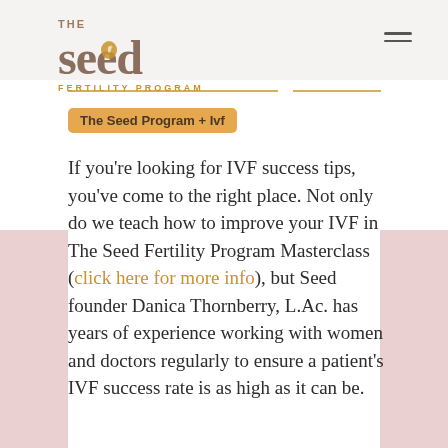[Figure (logo): The Seed Fertility Program logo with stylized 'seed' text in brown/taupe with fetus icon inside letter 'd', 'THE' above in gold, 'FERTILITY PROGRAM' below in gold]
The Seed Program + Ivf
If you’re looking for IVF success tips, you’ve come to the right place. Not only do we teach how to improve your IVF in The Seed Fertility Program Masterclass (click here for more info), but Seed founder Danica Thornberry, L.Ac. has years of experience working with women and doctors regularly to ensure a patient’s IVF success rate is as high as it can be.